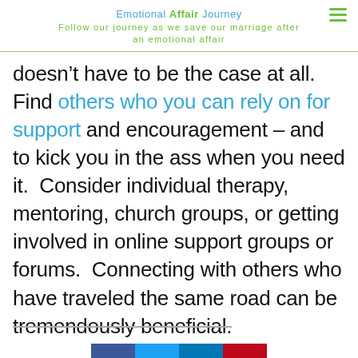Emotional Affair Journey
Follow our journey as we save our marriage after an emotional affair
doesn't have to be the case at all.  Find others who you can rely on for support and encouragement – and to kick you in the ass when you need it.  Consider individual therapy, mentoring, church groups, or getting involved in online support groups or forums.  Connecting with others who have traveled the same road can be tremendously beneficial.
By seeking out support, you will